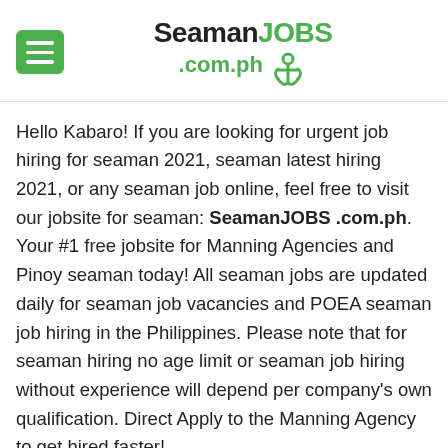SeamanJOBS .com.ph
Hello Kabaro! If you are looking for urgent job hiring for seaman 2021, seaman latest hiring 2021, or any seaman job online, feel free to visit our jobsite for seaman: SeamanJOBS .com.ph. Your #1 free jobsite for Manning Agencies and Pinoy seaman today! All seaman jobs are updated daily for seaman job vacancies and POEA seaman job hiring in the Philippines. Please note that for seaman hiring no age limit or seaman job hiring without experience will depend per company's own qualification. Direct Apply to the Manning Agency to get hired faster!